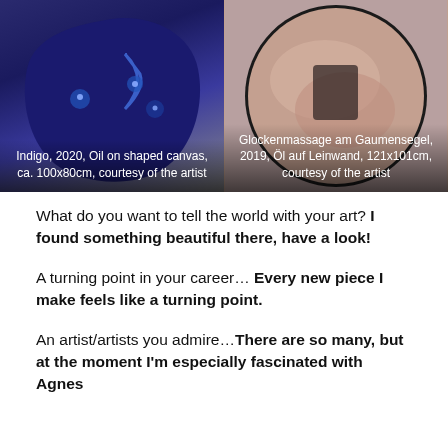[Figure (photo): Left artwork: Indigo, 2020, Oil on shaped canvas, ca. 100x80cm, courtesy of the artist. Dark blue shaped canvas with alien-like figures and moon.]
Indigo, 2020, Oil on shaped canvas, ca. 100x80cm, courtesy of the artist
[Figure (photo): Right artwork: Glockenmassage am Gaumensegel, 2019, Öl auf Leinwand, 121x101cm, courtesy of the artist. Round painting with pink tones.]
Glockenmassage am Gaumensegel, 2019, Öl auf Leinwand, 121x101cm, courtesy of the artist
What do you want to tell the world with your art? I found something beautiful there, have a look!
A turning point in your career… Every new piece I make feels like a turning point.
An artist/artists you admire…There are so many, but at the moment I'm especially fascinated with Agnes